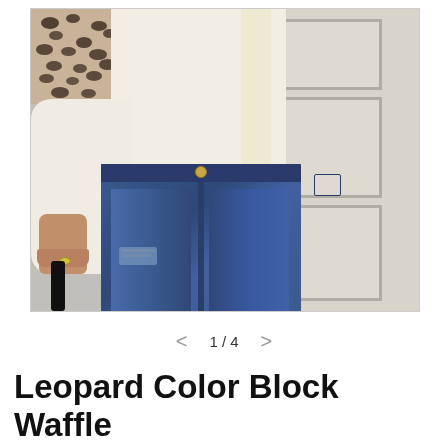[Figure (photo): A woman wearing a cream/white waffle-knit sweater with leopard print color block detail, paired with dark blue high-waist distressed skinny jeans and holding a black bag strap. She is standing in front of a white paneled door with a gold handle.]
1 / 4
Leopard Color Block Waffle